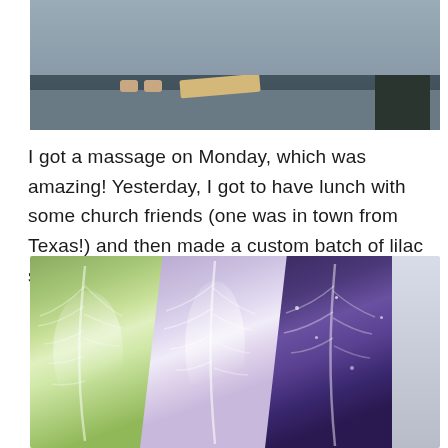[Figure (photo): A photographer crouching and taking photos of a person (only feet visible) in what appears to be an indoor studio or gym space with a dark floor. A wooden board is visible on the floor.]
I got a massage on Monday, which was amazing! Yesterday, I got to have lunch with some church friends (one was in town from Texas!) and then made a custom batch of lilac soap for one of my long-time customers:
[Figure (photo): A close-up photo of decorative handmade soaps with feather/leaf swirl patterns in green, lavender/light purple, dark purple/navy colors with white highlights and glitter.]